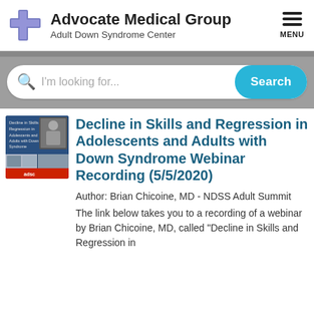Advocate Medical Group Adult Down Syndrome Center
[Figure (screenshot): Website search bar with placeholder text 'I'm looking for...' and a cyan 'Search' button]
[Figure (photo): Thumbnail image for the webinar recording showing a slide presentation about Decline in Skills and Regression in Adolescents and Adults with Down Syndrome]
Decline in Skills and Regression in Adolescents and Adults with Down Syndrome Webinar Recording (5/5/2020)
Author: Brian Chicoine, MD - NDSS Adult Summit
The link below takes you to a recording of a webinar by Brian Chicoine, MD, called "Decline in Skills and Regression in